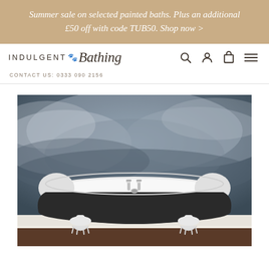Summer sale on selected painted baths. Plus an additional £50 off with code TUB50. Shop now >
[Figure (logo): Indulgent Bathing logo with sans-serif 'INDULGENT' text and script 'Bathing' text, with small decorative icon between words. Navigation icons for search, account, cart, and menu on the right.]
CONTACT US: 0333 090 2156
[Figure (photo): A large freestanding double-ended slipper bathtub painted dark charcoal/black on the exterior with a white interior, sitting on ornate white claw feet. The background features a dramatic painted mural of dark stormy clouds. The tub has chrome taps/faucets visible. The setting has a dark wooden floor and white baseboard.]